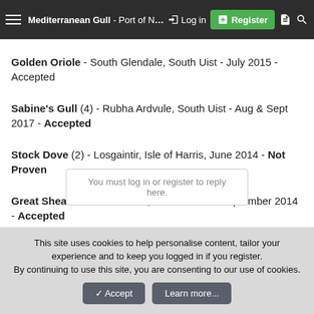Mediterranean Gull - Port of Ness, Isle of Lewis - September 2014 - Accepted
Golden Oriole - South Glendale, South Uist - July 2015 - Accepted
Sabine's Gull (4) - Rubha Ardvule, South Uist - Aug & Sept 2017 - Accepted
Stock Dove (2) - Losgaintir, Isle of Harris, June 2014 - Not Proven
Great Shearwater - The Butt, Isle of Lewis - September 2014 - Accepted
You must log in or register to reply here.
This site uses cookies to help personalise content, tailor your experience and to keep you logged in if you register. By continuing to use this site, you are consenting to our use of cookies.